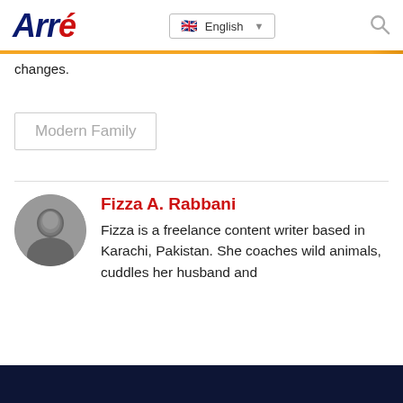Arré — English language selector — search icon
changes.
Modern Family
Fizza A. Rabbani
Fizza is a freelance content writer based in Karachi, Pakistan. She coaches wild animals, cuddles her husband and